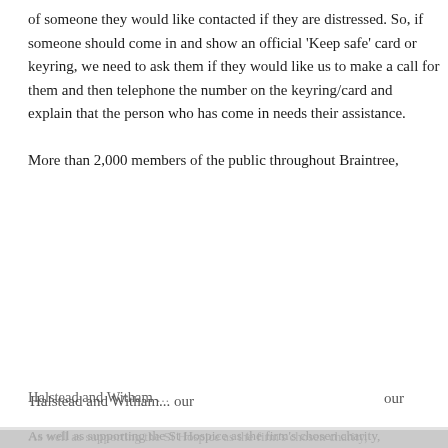of someone they would like contacted if they are distressed. So, if someone should come in and show an official 'Keep safe' card or keyring, we need to ask them if they would like us to make a call for them and then telephone the number on the keyring/card and explain that the person who has come in needs their assistance.
More than 2,000 members of the public throughout Braintree, [partially obscured] our
[Figure (screenshot): Cookie consent popup dialog overlaying the page. Contains message 'This website uses cookies to ensure you get the best experience on our website.' with a 'Learn more' link, and two buttons: 'Decline' and 'Accept' (green outlined). Also shows a close X button, a contrast toggle button, and a text size button on the right side. A purple scroll-to-top arrow button is visible at bottom right.]
As well as supporting the St Hospice as the firm's chosen charity,